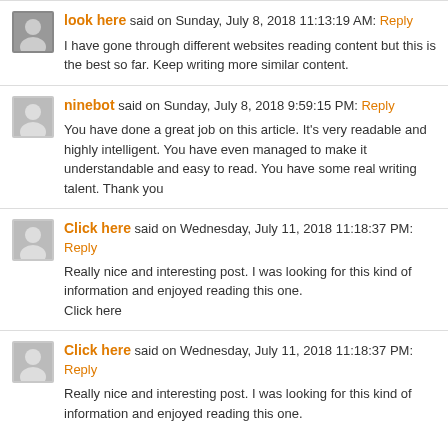look here said on Sunday, July 8, 2018 11:13:19 AM: Reply
I have gone through different websites reading content but this is the best so far. Keep writing more similar content.
ninebot said on Sunday, July 8, 2018 9:59:15 PM: Reply
You have done a great job on this article. It’s very readable and highly intelligent. You have even managed to make it understandable and easy to read. You have some real writing talent. Thank you
Click here said on Wednesday, July 11, 2018 11:18:37 PM: Reply
Really nice and interesting post. I was looking for this kind of information and enjoyed reading this one.
Click here
Click here said on Wednesday, July 11, 2018 11:18:37 PM: Reply
Really nice and interesting post. I was looking for this kind of information and enjoyed reading this one.